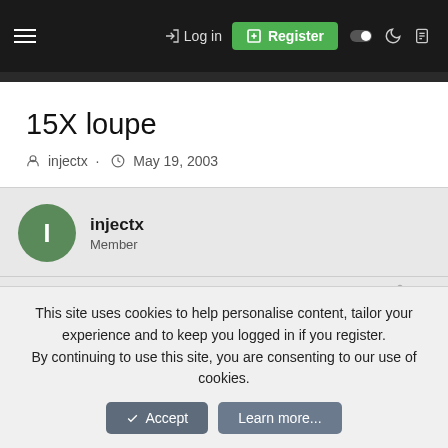Log in | Register
15X loupe
injectx · May 19, 2003
injectx
Member
May 19, 2003  #1
This site uses cookies to help personalise content, tailor your experience and to keep you logged in if you register.
By continuing to use this site, you are consenting to our use of cookies.